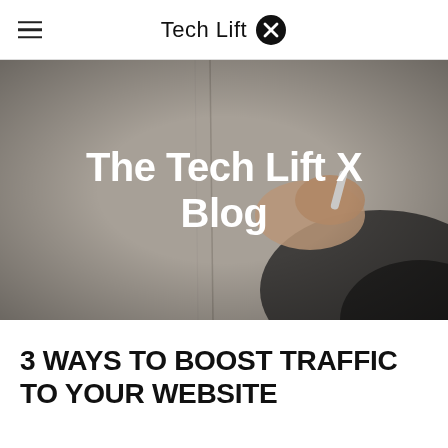Tech Lift X
[Figure (photo): A person writing on a wall/whiteboard with a marker, photographed from behind. Overlaid white bold text reads 'The Tech Lift X Blog'.]
3 WAYS TO BOOST TRAFFIC TO YOUR WEBSITE